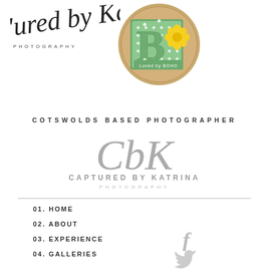[Figure (logo): Handwritten cursive script logo 'captured by Ka' with PHOTOGRAPHY below in spaced caps]
[Figure (logo): Circular burlap badge with green polka-dot B and yellow flower, text 'Loved by BOHO']
COTSWOLDS BASED PHOTOGRAPHER
[Figure (logo): CBK cursive monogram signature logo for Captured by Katrina Photography]
CAPTURED BY KATRINA
PHOTOGRAPHY
01. HOME
02. ABOUT
03. EXPERIENCE
04. GALLERIES
[Figure (logo): Facebook 'f' icon in light grey]
[Figure (logo): Twitter bird icon in light grey]